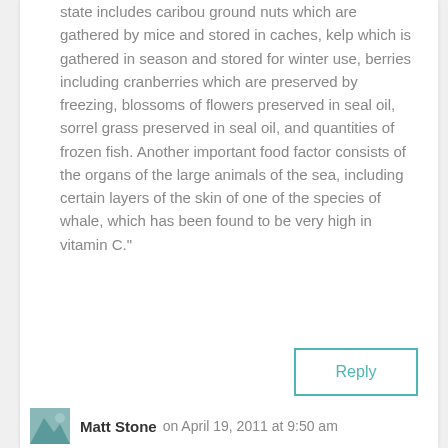state includes caribou ground nuts which are gathered by mice and stored in caches, kelp which is gathered in season and stored for winter use, berries including cranberries which are preserved by freezing, blossoms of flowers preserved in seal oil, sorrel grass preserved in seal oil, and quantities of frozen fish. Another important food factor consists of the organs of the large animals of the sea, including certain layers of the skin of one of the species of whale, which has been found to be very high in vitamin C."
http://en.wikipedia.org/wiki/Inuit_diet
http://en.wikipedia.org/wiki/Maasai_people
Reply
Matt Stone on April 19, 2011 at 9:50 am